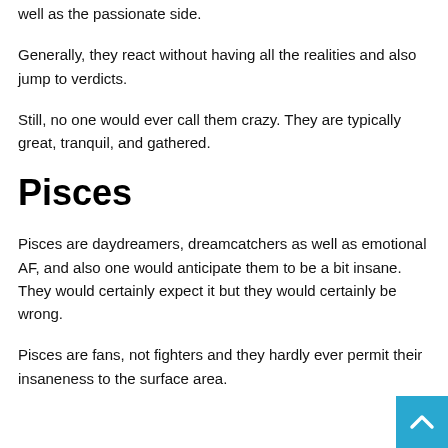well as the passionate side.
Generally, they react without having all the realities and also jump to verdicts.
Still, no one would ever call them crazy. They are typically great, tranquil, and gathered.
Pisces
Pisces are daydreamers, dreamcatchers as well as emotional AF, and also one would anticipate them to be a bit insane. They would certainly expect it but they would certainly be wrong.
Pisces are fans, not fighters and they hardly ever permit their insaneness to the surface area.